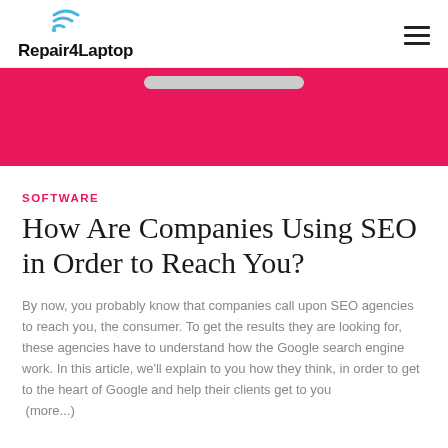Repair4Laptop
[Figure (screenshot): Pink/magenta banner with a device (laptop or tablet) at the top, showing a gray bar representing a screen or keyboard element]
SOFTWARE
How Are Companies Using SEO in Order to Reach You?
By now, you probably know that companies call upon SEO agencies to reach you, the consumer. To get the results they are looking for, these agencies have to understand how the Google search engine work. In this article, we'll explain to you how they think, in order to get to the heart of Google and help their clients get to you (more...)